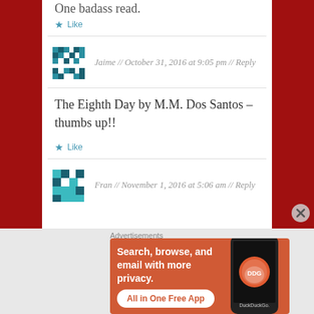One badass read.
★ Like
Jaime // October 31, 2016 at 9:05 pm // Reply
The Eighth Day by M.M. Dos Santos – thumbs up!!
★ Like
Fran // November 1, 2016 at 5:06 am // Reply
Advertisements
[Figure (infographic): DuckDuckGo advertisement banner with orange background, text 'Search, browse, and email with more privacy. All in One Free App' and a phone showing the DuckDuckGo app]